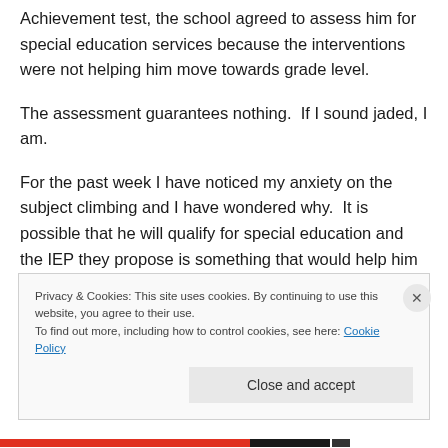Achievement test, the school agreed to assess him for special education services because the interventions were not helping him move towards grade level.
The assessment guarantees nothing.  If I sound jaded, I am.
For the past week I have noticed my anxiety on the subject climbing and I have wondered why.  It is possible that he will qualify for special education and the IEP they propose is something that would help him reach grade
Privacy & Cookies: This site uses cookies. By continuing to use this website, you agree to their use.
To find out more, including how to control cookies, see here: Cookie Policy
Close and accept